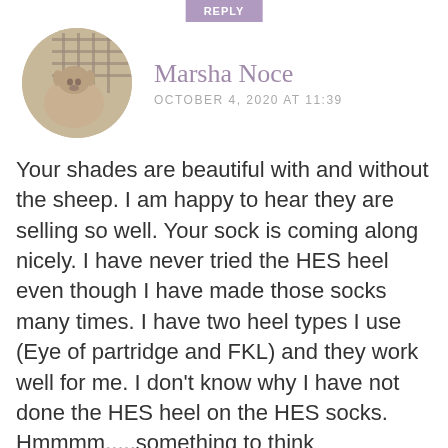REPLY
[Figure (photo): Circular avatar photo of a sheep or alpaca in a wire pen/cage]
Marsha Noce
OCTOBER 4, 2020 AT 11:39
Your shades are beautiful with and without the sheep. I am happy to hear they are selling so well. Your sock is coming along nicely. I have never tried the HES heel even though I have made those socks many times. I have two heel types I use (Eye of partridge and FKL) and they work well for me. I don't know why I have not done the HES heel on the HES socks. Hmmmm.....something to think